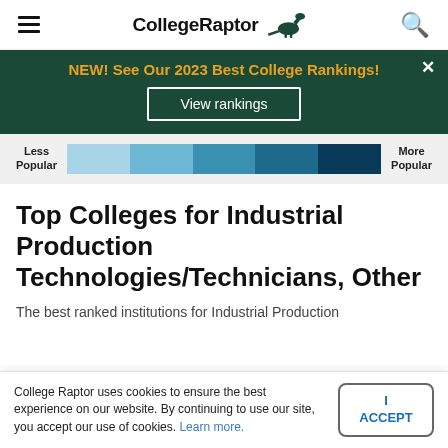CollegeRaptor
[Figure (infographic): Green banner advertisement: NEW! See Our 2023 Best College Rankings! with View rankings button and close X]
[Figure (infographic): Color gradient legend bar from light blue (Less Popular) to dark navy (More Popular)]
Top Colleges for Industrial Production Technologies/Technicians, Other
The best ranked institutions for Industrial Production
College Raptor uses cookies to ensure the best experience on our website. By continuing to use our site, you accept our use of cookies. Learn more.